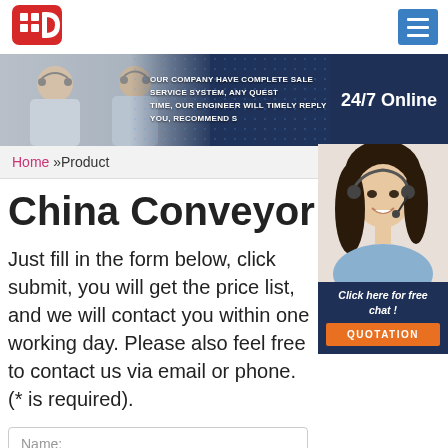[Figure (logo): Red and white company logo with grid plus sign design]
[Figure (screenshot): Website header banner showing customer service representatives and 24/7 Online text overlay with digital network background]
Home »Product
China Conveyor Chain
Just fill in the form below, click submit, you will get the price list, and we will contact you within one working day. Please also feel free to contact us via email or phone. (* is required).
[Figure (photo): Chat widget showing woman with headset, Click here for free chat text, and QUOTATION orange button]
Name: